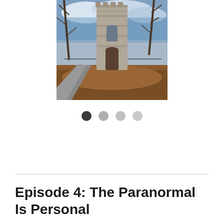[Figure (photo): A tall stone tower building with a wooden/metal door, surrounded by bare winter trees and brown ground cover. A paved path leads to the left. Blue sky with clouds visible above.]
● ○ ○ ○ (carousel navigation dots, first dot active/dark, three inactive/light)
Episode 4: The Paranormal Is Personal